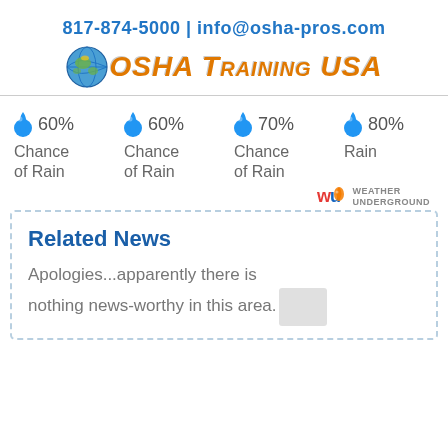817-874-5000 | info@osha-pros.com
[Figure (logo): Globe emoji followed by OSHA Training USA logo in orange italic bold text]
[Figure (infographic): Weather widget showing four rain chance items: 60% Chance of Rain, 60% Chance of Rain, 70% Chance of Rain, 80% Rain with blue water drop icons. Weather Underground credit logo in bottom right.]
Related News
Apologies...apparently there is nothing news-worthy in this area.